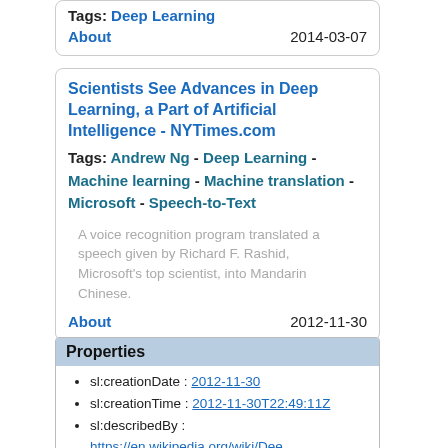Tags: Deep Learning
About    2014-03-07
Scientists See Advances in Deep Learning, a Part of Artificial Intelligence - NYTimes.com
Tags: Andrew Ng - Deep Learning - Machine learning - Machine translation - Microsoft - Speech-to-Text
A voice recognition program translated a speech given by Richard F. Rashid, Microsoft's top scientist, into Mandarin Chinese.
About    2012-11-30
Properties
sl:creationDate : 2012-11-30
sl:creationTime : 2012-11-30T22:49:11Z
sl:describedBy : https://en.wikipedia.org/wiki/Deep
rdf:type : sl:Tag
skos:prefLabel : Deep Learning